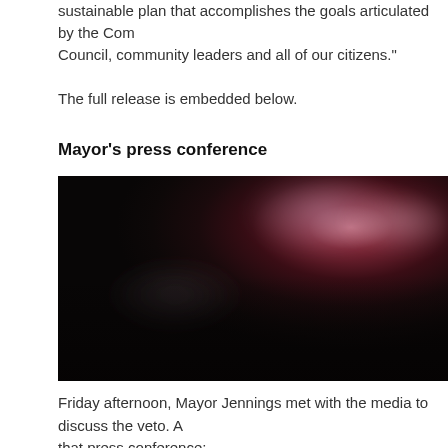sustainable plan that accomplishes the goals articulated by the Com Council, community leaders and all of our citizens."
The full release is embedded below.
Mayor's press conference
[Figure (photo): Blurred dark photograph of a press conference, showing figures in a dimly lit room with dark reddish-brown tones in the background.]
Friday afternoon, Mayor Jennings met with the media to discuss the veto. A that press conference: